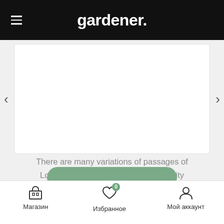gardener.
There are many variations of passages of Lorem Ipsum available, but the majority have suffered alteration in some form.
Sara Rogers - Google Inc.
Магазин  Избранное  Мой аккаунт